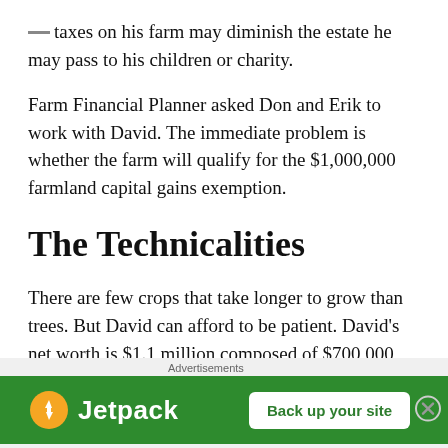taxes on his farm may diminish the estate he may pass to his children or charity.
Farm Financial Planner asked Don and Erik to work with David. The immediate problem is whether the farm will qualify for the $1,000,000 farmland capital gains exemption.
The Technicalities
There are few crops that take longer to grow than trees. But David can afford to be patient. David's net worth is $1.1 million composed of $700,000 real assets (half farm, half house) and $413,000 in financial assets. This works out to about two-thirds real assets
[Figure (screenshot): Jetpack advertisement banner with green background, Jetpack logo and 'Back up your site' button, with Advertisements label above and close (X) button on right side.]